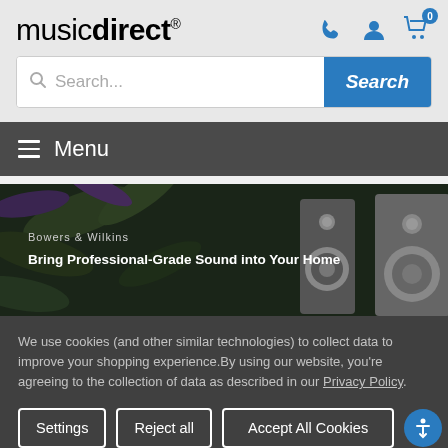musicdirect
[Figure (screenshot): Music Direct website screenshot showing logo, search bar, menu bar, Bowers & Wilkins promo banner, and cookie consent overlay with Settings, Reject all, and Accept All Cookies buttons]
We use cookies (and other similar technologies) to collect data to improve your shopping experience.By using our website, you're agreeing to the collection of data as described in our Privacy Policy.
Settings
Reject all
Accept All Cookies